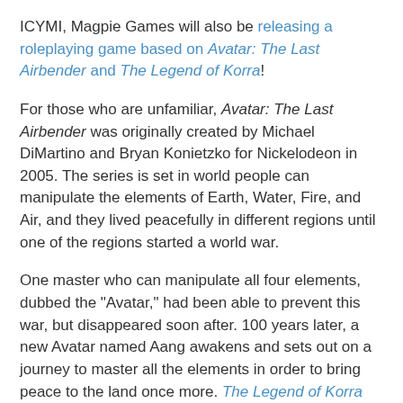ICYMI, Magpie Games will also be releasing a roleplaying game based on Avatar: The Last Airbender and The Legend of Korra!
For those who are unfamiliar, Avatar: The Last Airbender was originally created by Michael DiMartino and Bryan Konietzko for Nickelodeon in 2005. The series is set in world people can manipulate the elements of Earth, Water, Fire, and Air, and they lived peacefully in different regions until one of the regions started a world war.
One master who can manipulate all four elements, dubbed the "Avatar," had been able to prevent this war, but disappeared soon after. 100 years later, a new Avatar named Aang awakens and sets out on a journey to master all the elements in order to bring peace to the land once more. The Legend of Korra takes place takes place 70 years after the events of its predecessor, following the next Avatar, a young girl named Korra from the Southern Water Tribe.
Both show have continued in successful on-going graphic novel series.